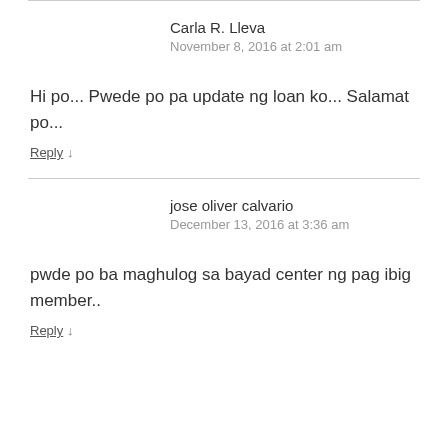Carla R. Lleva
November 8, 2016 at 2:01 am
Hi po... Pwede po pa update ng loan ko... Salamat po...
Reply ↓
jose oliver calvario
December 13, 2016 at 3:36 am
pwde po ba maghulog sa bayad center ng pag ibig member..
Reply ↓